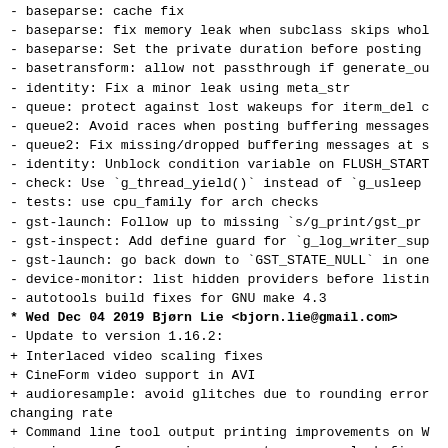- baseparse: cache fix
- baseparse: fix memory leak when subclass skips whol
- baseparse: Set the private duration before posting
- basetransform: allow not passthrough if generate_ou
- identity: Fix a minor leak using meta_str
- queue: protect against lost wakeups for iterm_del c
- queue2: Avoid races when posting buffering messages
- queue2: Fix missing/dropped buffering messages at s
- identity: Unblock condition variable on FLUSH_START
- check: Use `g_thread_yield()` instead of `g_usleep
- tests: use cpu_family for arch checks
- gst-launch: Follow up to missing `s/g_print/gst_pr
- gst-inspect: Add define guard for `g_log_writer_sup
- gst-launch: go back down to `GST_STATE_NULL` in one
- device-monitor: list hidden providers before listin
- autotools build fixes for GNU make 4.3
* Wed Dec 04 2019 Bjørn Lie <bjorn.lie@gmail.com>
- Update to version 1.16.2:
+ Interlaced video scaling fixes
+ CineForm video support in AVI
+ audioresample: avoid glitches due to rounding error
changing rate
+ Command line tool output printing improvements on W
+ various performance improvements, memory leak fixes
security fixes
+ VP9 decoding fixes
+ wasapi: bug fixes and stability improvements
+ tsdemux: improved handling of certain discontinuit
+ vaapi h265 decoder: wait for I-frame before trying
+ tee: Make sure to actually deactivate pads that are